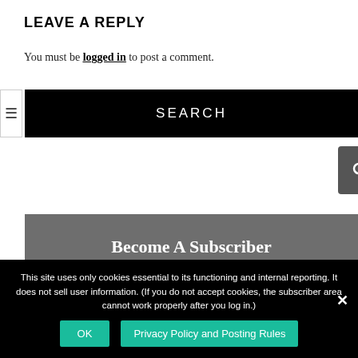LEAVE A REPLY
You must be logged in to post a comment.
SEARCH
[Figure (screenshot): Search input field with magnifying glass button]
Become A Subscriber
This site uses only cookies essential to its functioning and internal reporting. It does not sell user information. (If you do not accept cookies, the subscriber area cannot work properly after you log in.)
OK   Privacy Policy and Posting Rules